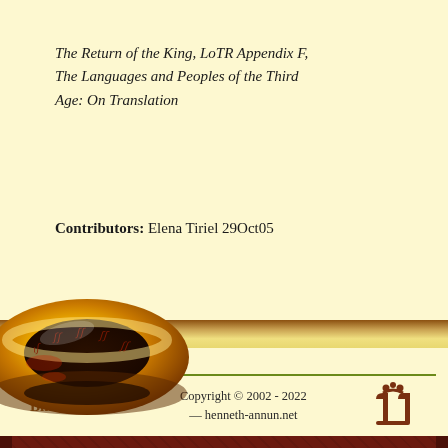The Return of the King, LoTR Appendix F, The Languages and Peoples of the Third Age: On Translation
Contributors: Elena Tiriel 29Oct05
[Figure (illustration): The One Ring from Lord of the Rings — a golden ring with glowing elvish script inscriptions, shown at an angle]
Bilbo Baggins    Copyright © 2002 - 2022 — henneth-annun.net